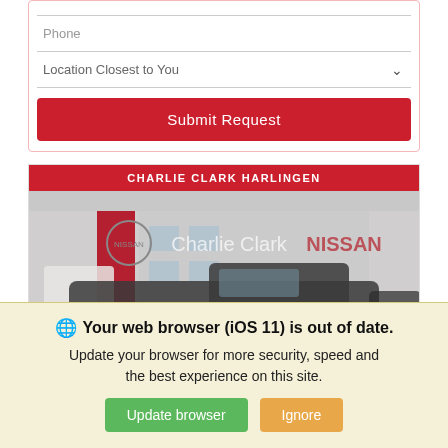[Figure (screenshot): Form section with Phone input field, Location Closest to You dropdown, and Submit Request button on a white background with pink border.]
[Figure (screenshot): Charlie Clark Harlingen Nissan dealership section with red header bar and dealership photo showing a dark pickup truck parked in front of the Charlie Clark Nissan building.]
Your web browser (iOS 11) is out of date. Update your browser for more security, speed and the best experience on this site.
Update browser
Ignore